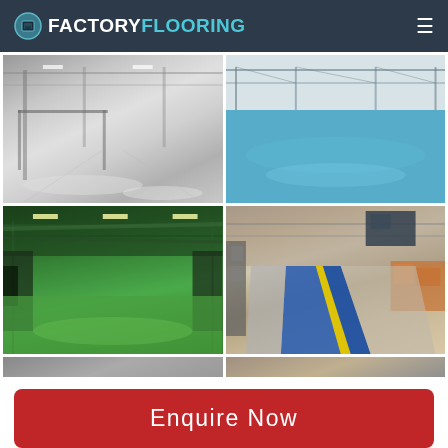FACTORY FLOORING
[Figure (photo): Interior of industrial warehouse with grey/silver epoxy floor and steel mezzanine structure]
[Figure (photo): Large industrial warehouse interior with smooth blue epoxy resin floor]
[Figure (photo): Factory floor with bright green epoxy coating, industrial machinery and ceiling pipework visible]
[Figure (photo): Warehouse/factory interior with blue epoxy floor lane marked with yellow stripe, helicopters and equipment visible]
Enquire Now